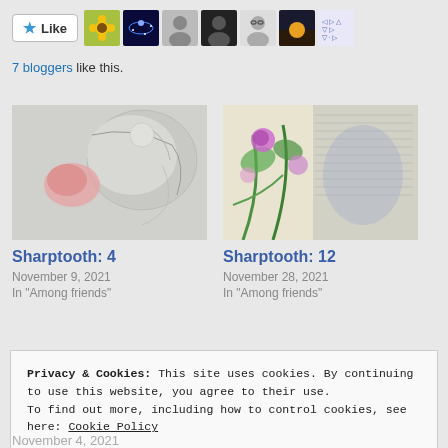[Figure (other): Like button with star icon and 7 blogger avatars thumbnail row]
7 bloggers like this.
[Figure (illustration): Artwork thumbnail for Sharptooth: 4, abstract grey and pink ink drawing]
Sharptooth: 4
November 9, 2021
In "Among friends"
[Figure (illustration): Artwork thumbnail for Sharptooth: 12, colorful floral and text collage painting]
Sharptooth: 12
November 28, 2021
In "Among friends"
Privacy & Cookies: This site uses cookies. By continuing to use this website, you agree to their use. To find out more, including how to control cookies, see here: Cookie Policy
Close and accept
November 4, 2021